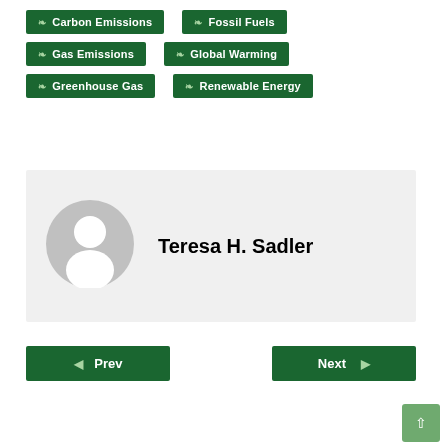❧ Carbon Emissions
❧ Fossil Fuels
❧ Gas Emissions
❧ Global Warming
❧ Greenhouse Gas
❧ Renewable Energy
[Figure (illustration): Author avatar placeholder with grey circle background and white user silhouette icon]
Teresa H. Sadler
◀ Prev
Next ▶
↑